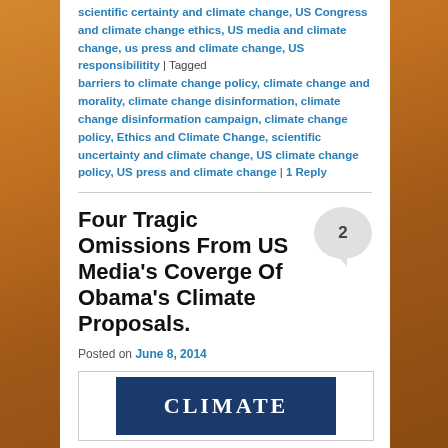scientific certainty and climate change, US Congress and climate change ethics, US media and climate change, us press and climate change, US responsibilitity | Tagged barriers to climate change policy, climate change and morality, climate change disinformation, climate change disinformation campaign, climate change policy, Ethics and Climate Change, scientific uncertainty and climate change, US climate change policy, US press and climate change | 1 Reply
Four Tragic Omissions From US Media's Coverge Of Obama's Climate Proposals.
Posted on June 8, 2014
[Figure (other): Climate banner image showing dark blue rectangle with white text reading CLIMATE]